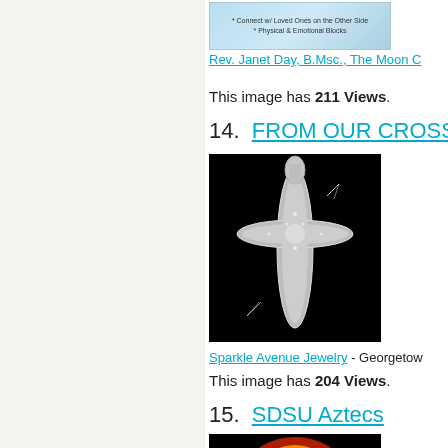[Figure (photo): Small thumbnail image with light blue background showing text about connecting with loved ones]
Rev. Janet Day, B.Msc., The Moon C
This image has 211 Views.
14.  FROM OUR CROSS CO
[Figure (photo): Silver/diamond cross pendant jewelry on black background with sparkle effects]
Sparkle Avenue Jewelry - Georgetown
This image has 204 Views.
15.  SDSU Aztecs
[Figure (photo): SDSU Aztecs logo on black background with red and yellow colors]